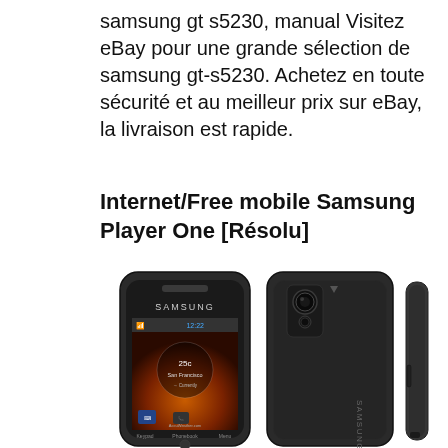samsung gt s5230, manual Visitez eBay pour une grande sélection de samsung gt-s5230. Achetez en toute sécurité et au meilleur prix sur eBay, la livraison est rapide.
Internet/Free mobile Samsung Player One [Résolu]
[Figure (photo): Product photo of Samsung GT-S5230 smartphone shown from three angles: front view showing touchscreen with weather widget (25°C, San Francisco), back view showing camera, and side/edge view. The phone is black.]